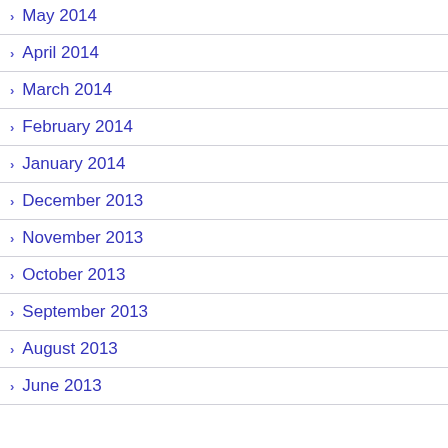May 2014
April 2014
March 2014
February 2014
January 2014
December 2013
November 2013
October 2013
September 2013
August 2013
June 2013